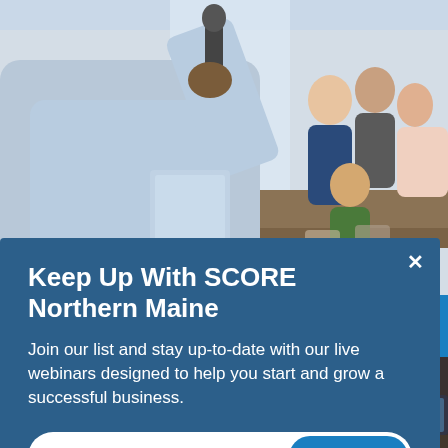[Figure (photo): Business conference scene: a presenter in a light blue shirt holds a microphone at a podium, audience seated in background]
Keep Up With SCORE Northern Maine
Join our list and stay up-to-date with our live webinars designed to help you start and grow a successful business.
[Figure (photo): Close-up of podcasting/recording equipment including headphones and a microphone, with a person in background]
artup
ap >